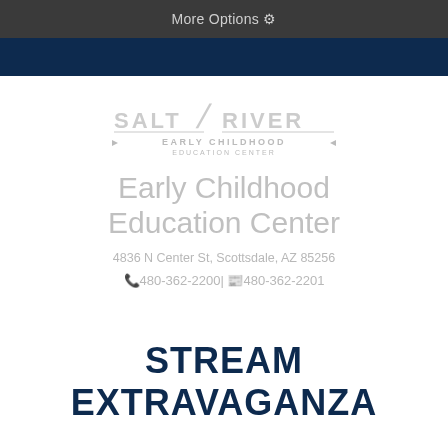More Options ⚙
[Figure (logo): Salt River Early Childhood Education Center logo with stylized slash between SALT and RIVER]
Early Childhood Education Center
4836 N Center St, Scottsdale, AZ 85256
📞480-362-2200| 📠480-362-2201
STREAM EXTRAVAGANZA